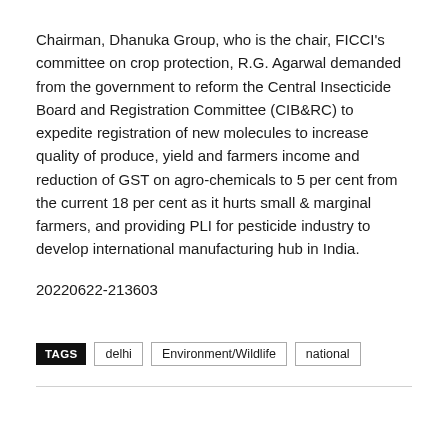Chairman, Dhanuka Group, who is the chair, FICCI's committee on crop protection, R.G. Agarwal demanded from the government to reform the Central Insecticide Board and Registration Committee (CIB&RC) to expedite registration of new molecules to increase quality of produce, yield and farmers income and reduction of GST on agro-chemicals to 5 per cent from the current 18 per cent as it hurts small & marginal farmers, and providing PLI for pesticide industry to develop international manufacturing hub in India.
20220622-213603
TAGS  delhi  Environment/Wildlife  national